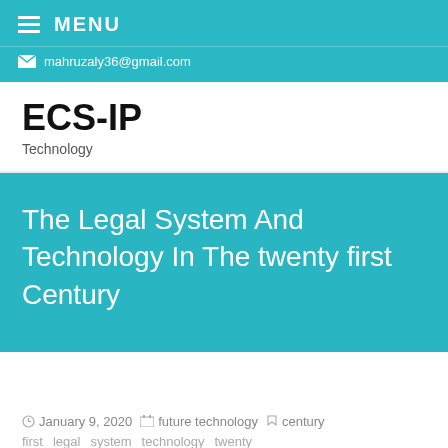MENU
mahruzaly36@gmail.com
ECS-IP
Technology
The Legal System And Technology In The twenty first Century
January 9, 2020  future technology  century
first  legal  system  technology  twenty